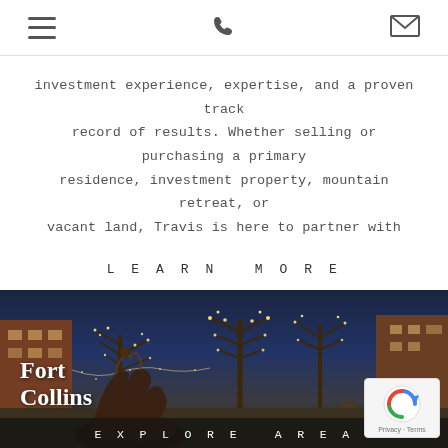[navigation icons: hamburger menu, phone, email]
investment experience, expertise, and a proven track record of results. Whether selling or purchasing a primary residence, investment property, mountain retreat, or vacant land, Travis is here to partner with you.
LEARN MORE
[Figure (photo): Twilight photo of Fort Collins downtown area with illuminated bare trees, brick buildings, a bronze sculpture/fountain in foreground. Text overlay reads 'Fort Collins' and 'EXPLORE AREA' at bottom.]